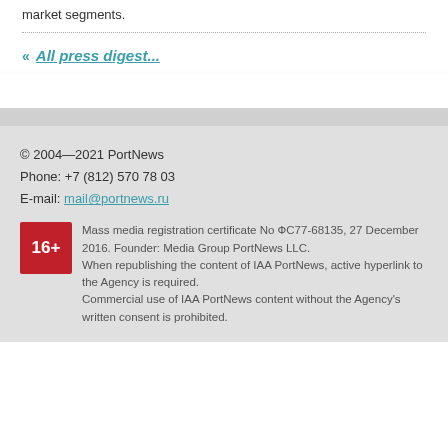market segments.
All press digest...
© 2004—2021 PortNews
Phone: +7 (812) 570 78 03
E-mail: mail@portnews.ru
Mass media registration certificate No ФС77-68135, 27 December 2016. Founder: Media Group PortNews LLC.
When republishing the content of IAA PortNews, active hyperlink to the Agency is required.
Commercial use of IAA PortNews content without the Agency's written consent is prohibited.